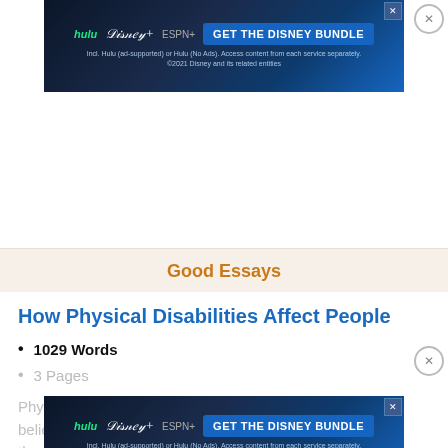[Figure (screenshot): Disney Bundle advertisement banner showing Hulu, Disney+, ESPN+ logos with 'GET THE DISNEY BUNDLE' CTA button on dark blue background]
Good Essays
How Physical Disabilities Affect People
1029 Words
3 Pages
Physical... society believe... isability, they should be viewed as tragic entities. Disabilities are
[Figure (screenshot): Disney Bundle advertisement banner showing Hulu, Disney+, ESPN+ logos with 'GET THE DISNEY BUNDLE' CTA button on dark blue background (second instance)]